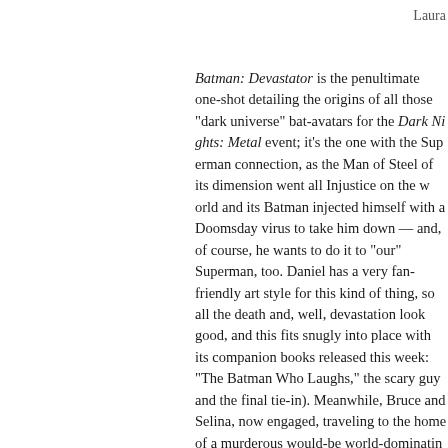Laura
Batman: Devastator is the penultimate one-shot detailing the origins of all those "dark universe" bat-avatars for the Dark Nights: Metal event; it's the one with the Superman connection, as the Man of Steel of its dimension went all Injustice on the world and its Batman injected himself with a Doomsday virus to take him down — and, of course, he wants to do it to "our" Superman, too. Daniel has a very fan-friendly art style for this kind of thing, so all the death and, well, devastation look good, and this fits snugly into place with its companion books released this week: "The Batman Who Laughs," the scary guy and the final tie-in). Meanwhile, Bruce and Selina, now engaged, traveling to the home of a murderous would-be world-dominating